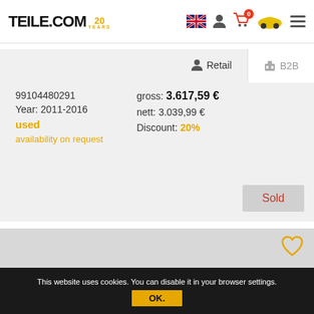TEILE.COM 20 YEARS
Retail
B2B
99104480291
Year: 2011-2016
used
availability on request
gross: 3.617,59 €
nett: 3.039,99 €
Discount: 20%
Sold
[Figure (photo): Product image placeholder area with heart/wishlist icon]
This website uses cookies. You can disable it in your browser settings.
OK.